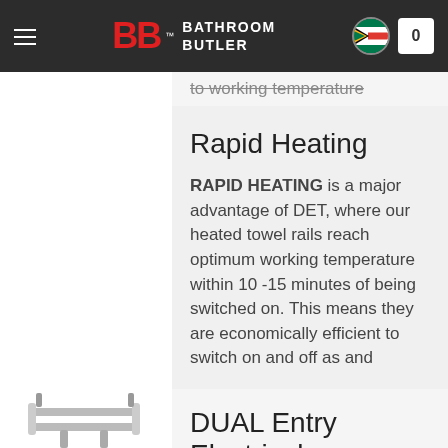BATHROOM BUTLER
to working temperature
Rapid Heating
RAPID HEATING is a major advantage of DET, where our heated towel rails reach optimum working temperature within 10 -15 minutes of being switched on. This means they are economically efficient to switch on and off as and
DUAL Entry Electrical